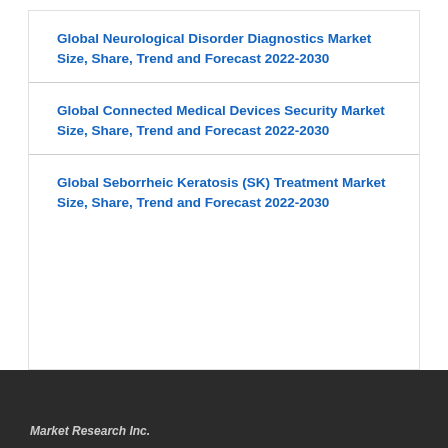Global Neurological Disorder Diagnostics Market Size, Share, Trend and Forecast 2022-2030
Global Connected Medical Devices Security Market Size, Share, Trend and Forecast 2022-2030
Global Seborrheic Keratosis (SK) Treatment Market Size, Share, Trend and Forecast 2022-2030
Market Research Inc.